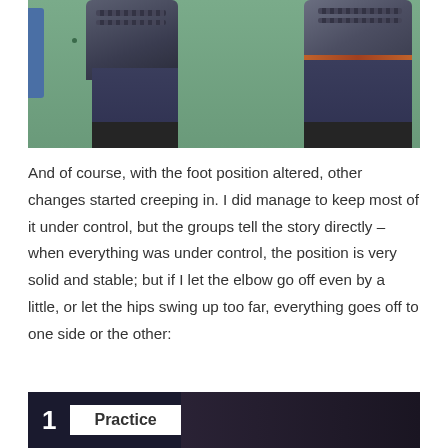[Figure (photo): Overhead view of a person's feet and lower legs wearing grey/dark sneakers and dark navy blue pants with black knee patches, standing on a green gym floor]
And of course, with the foot position altered, other changes started creeping in. I did manage to keep most of it under control, but the groups tell the story directly – when everything was under control, the position is very solid and stable; but if I let the elbow go off even by a little, or let the hips swing up too far, everything goes off to one side or the other:
[Figure (screenshot): Bottom portion of a screenshot showing a dark background with the number 1 and a white label box reading 'Practice']